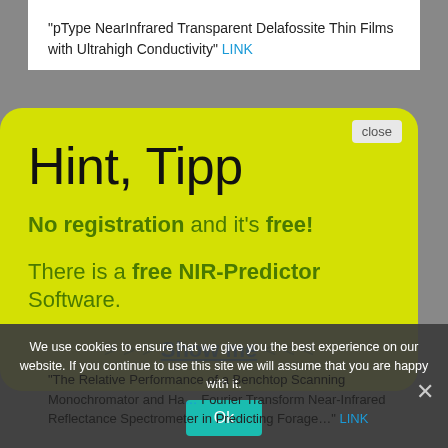“pType NearInfrared Transparent Delafossite Thin Films with Ultrahigh Conductivity” LINK
[Figure (screenshot): Yellow popup overlay with rounded corners showing 'Hint, Tipp' header, text 'No registration and it’s free!' and 'There is a free NIR-Predictor Software.' with '> > > Show me < < <' link, and a close button]
We use cookies to ensure that we give you the best experience on our website. If you continue to use this site we will assume that you are happy with it.
“The Relative Performance of a Benchtop Scanning Monochromator and Hadamard Fourier Transform Near-Infrared Reflectance Spectrometer in Predicting Forage” LINK